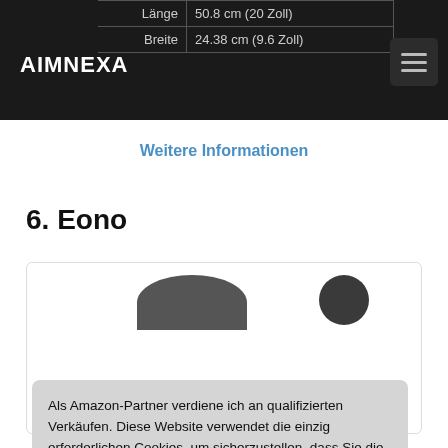AIMNEXA
| Länge | 50.8 cm (20 Zoll) |
| Breite | 24.38 cm (9.6 Zoll) |
Weitere Informationen
6. Eono
[Figure (photo): Partial product image of Eono product, showing dark rounded shape and circular element at top, colorful element at bottom, inside a white card with border]
Als Amazon-Partner verdiene ich an qualifizierten Verkäufen. Diese Website verwendet die einzig erforderlichen Cookies, um sicherzustellen, dass Sie die bestmögliche Erfahrung auf unserer Website erzielen. Mehr Informationen